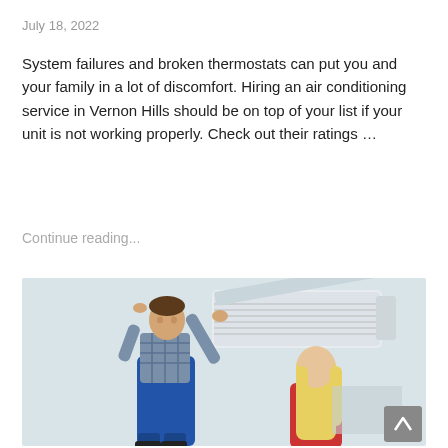July 18, 2022
System failures and broken thermostats can put you and your family in a lot of discomfort. Hiring an air conditioning service in Vernon Hills should be on top of your list if your unit is not working properly. Check out their ratings …
Continue reading...
[Figure (photo): A male technician in blue overalls and a plaid shirt inspecting a wall-mounted air conditioning unit, with a blonde woman in red watching from below right.]